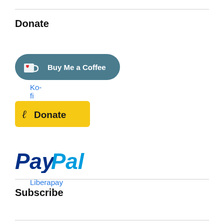Donate
Ko-fi
[Figure (logo): Ko-fi Buy Me a Coffee button — dark teal rounded rectangle with coffee cup icon and heart, white text 'Buy Me a Coffee']
Liberapay
[Figure (logo): Liberapay Donate button — yellow rounded rectangle with Liberapay 'lp' icon and bold text 'Donate']
Paypal.Me
[Figure (logo): PayPal logo in blue italic bold text]
Subscribe
RSS - Posts